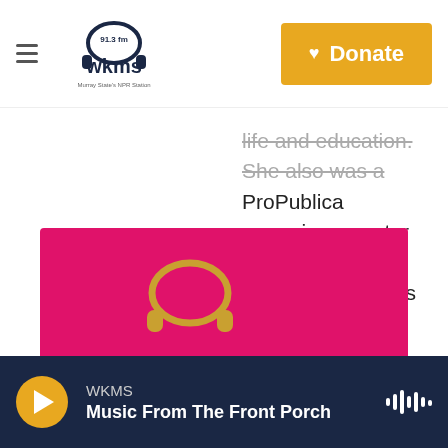WKMS 91.3 FM | Murray State's NPR Station — Donate
life and education. She also was a ProPublica emerging reporter fellow, where she helped their Illinois bureau do experimental audience engagement through theater workshops. (Really!)
See stories by Natalie Escobar
[Figure (illustration): Pink/magenta promotional banner with WKMS logo icon]
WKMS — Music From The Front Porch